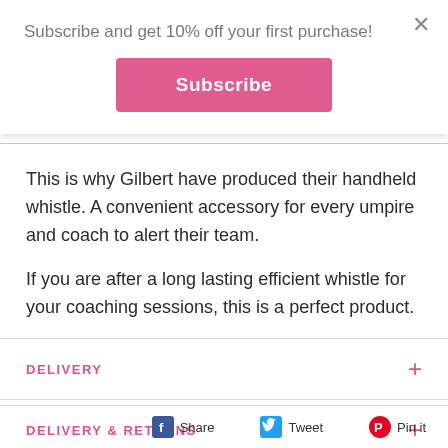Subscribe and get 10% off your first purchase!
Subscribe
This is why Gilbert have produced their handheld whistle. A convenient accessory for every umpire and coach to alert their team.
If you are after a long lasting efficient whistle for your coaching sessions, this is a perfect product.
DELIVERY
DELIVERY & RETURNS
Share   Tweet   Pin it